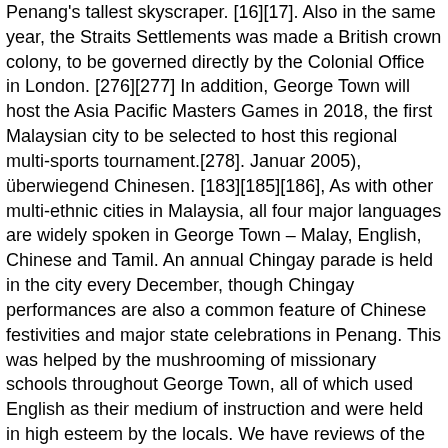Penang's tallest skyscraper. [16][17]. Also in the same year, the Straits Settlements was made a British crown colony, to be governed directly by the Colonial Office in London. [276][277] In addition, George Town will host the Asia Pacific Masters Games in 2018, the first Malaysian city to be selected to host this regional multi-sports tournament.[278]. Januar 2005), überwiegend Chinesen. [183][185][186], As with other multi-ethnic cities in Malaysia, all four major languages are widely spoken in George Town – Malay, English, Chinese and Tamil. An annual Chingay parade is held in the city every December, though Chingay performances are also a common feature of Chinese festivities and major state celebrations in Penang. This was helped by the mushrooming of missionary schools throughout George Town, all of which used English as their medium of instruction and were held in high esteem by the locals. We have reviews of the best places to see in George Town... [156][157], The Mayor of Penang Island is appointed by the Penang state government every two years, while each of the 24 councillors is appointed for a one-year term. [106][107], The jurisdiction of George Town covers an area of 307.79 k...